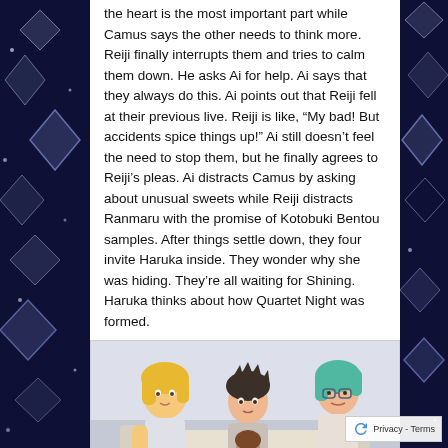the heart is the most important part while Camus says the other needs to think more. Reiji finally interrupts them and tries to calm them down. He asks Ai for help. Ai says that they always do this. Ai points out that Reiji fell at their previous live. Reiji is like, “My bad! But accidents spice things up!” Ai still doesn’t feel the need to stop them, but he finally agrees to Reiji’s pleas. Ai distracts Camus by asking about unusual sweets while Reiji distracts Ranmaru with the promise of Kotobuki Bentou samples. After things settle down, they four invite Haruka inside. They wonder why she was hiding. They’re all waiting for Shining. Haruka thinks about how Quartet Night was formed.
[Figure (illustration): Anime illustration showing three characters: a blonde character on the left, a dark-haired character in the center, and a teal/green-haired character on the right, seated together indoors.]